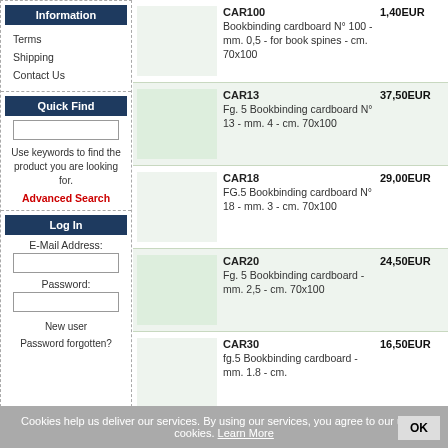Information
Terms
Shipping
Contact Us
Quick Find
Use keywords to find the product you are looking for.
Advanced Search
Log In
E-Mail Address:
Password:
New user
Password forgotten?
| Image | Code / Description | Price |
| --- | --- | --- |
|  | CAR100
Bookbinding cardboard N° 100 -mm. 0,5 - for book spines - cm. 70x100 | 1,40EUR |
|  | CAR13
Fg. 5 Bookbinding cardboard N° 13 - mm. 4 - cm. 70x100 | 37,50EUR |
|  | CAR18
FG.5 Bookbinding cardboard N° 18 - mm. 3 - cm. 70x100 | 29,00EUR |
|  | CAR20
Fg. 5 Bookbinding cardboard - mm. 2,5 - cm. 70x100 | 24,50EUR |
|  | CAR30
fg.5 Bookbinding cardboard - mm. 1.8 - cm. | 16,50EUR |
Cookies help us deliver our services. By using our services, you agree to our use of cookies. Learn More